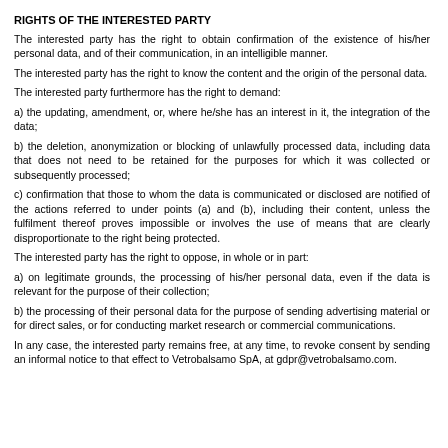RIGHTS OF THE INTERESTED PARTY
The interested party has the right to obtain confirmation of the existence of his/her personal data, and of their communication, in an intelligible manner.
The interested party has the right to know the content and the origin of the personal data.
The interested party furthermore has the right to demand:
a) the updating, amendment, or, where he/she has an interest in it, the integration of the data;
b) the deletion, anonymization or blocking of unlawfully processed data, including data that does not need to be retained for the purposes for which it was collected or subsequently processed;
c) confirmation that those to whom the data is communicated or disclosed are notified of the actions referred to under points (a) and (b), including their content, unless the fulfilment thereof proves impossible or involves the use of means that are clearly disproportionate to the right being protected.
The interested party has the right to oppose, in whole or in part:
a) on legitimate grounds, the processing of his/her personal data, even if the data is relevant for the purpose of their collection;
b) the processing of their personal data for the purpose of sending advertising material or for direct sales, or for conducting market research or commercial communications.
In any case, the interested party remains free, at any time, to revoke consent by sending an informal notice to that effect to Vetrobalsamo SpA, at gdpr@vetrobalsamo.com.